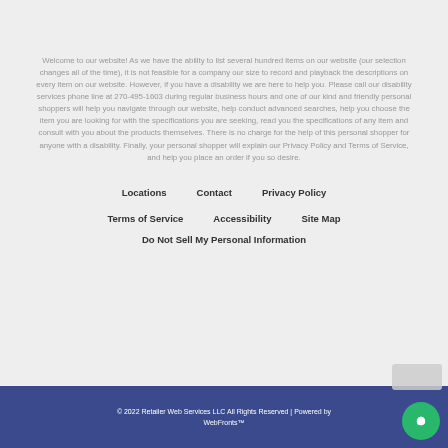Welcome to our website! As we have the ability to list several hundred items on our website (our selection changes all of the time), it is not feasible for a company our size to record and playback the descriptions on every item on our website. However, if you have a disability we are here to help you. Please call our disability services phone line at 270-495-1603 during regular business hours and one of our kind and friendly personal shoppers will help you navigate through our website, help conduct advanced searches, help you choose the item you are looking for with the specifications you are seeking, read you the specifications of any item and consult with you about the products themselves. There is no charge for the help of this personal shopper for anyone with a disability. Finally, your personal shopper will explain our Privacy Policy and Terms of Service, and help you place an order if you so desire.
Locations
Contact
Privacy Policy
Terms of Service
Accessibility
Site Map
Do Not Sell My Personal Information
© 2022 Retailer Web Services LLC All Rights Reserved | Powered by WebFronts™